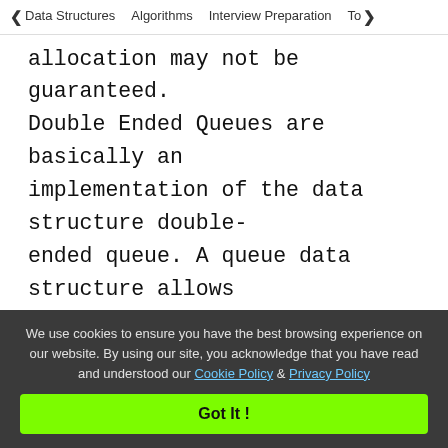< Data Structures   Algorithms   Interview Preparation   To>
allocation may not be guaranteed. Double Ended Queues are basically an implementation of the data structure double-ended queue. A queue data structure allows insertion only at the end and deletion from the front. This is like a queue in real life, wherein people are removed from the front and added at the back. Double-ended queues are a special case of queues where insertion and deletion operations are possible at both the ends.
We use cookies to ensure you have the best browsing experience on our website. By using our site, you acknowledge that you have read and understood our Cookie Policy & Privacy Policy
Got It !